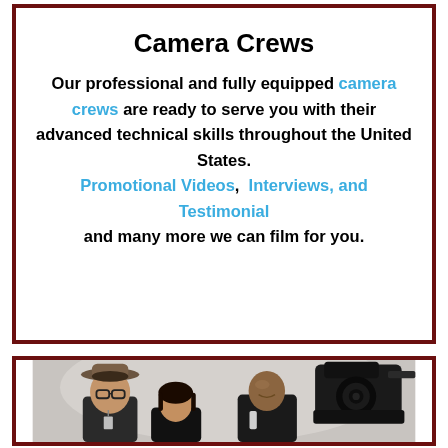Camera Crews
Our professional and fully equipped camera crews are ready to serve you with their advanced technical skills throughout the United States. Promotional Videos, Interviews, and Testimonial and many more we can film for you.
[Figure (photo): Three people posing with a professional video camera on a light grey background. One person wears a brown fedora hat and glasses. A professional camera is visible on the right side.]